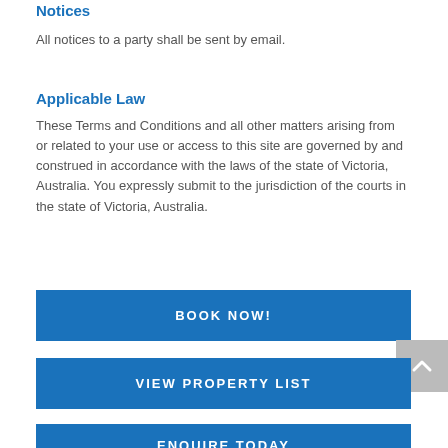Notices
All notices to a party shall be sent by email.
Applicable Law
These Terms and Conditions and all other matters arising from or related to your use or access to this site are governed by and construed in accordance with the laws of the state of Victoria, Australia. You expressly submit to the jurisdiction of the courts in the state of Victoria, Australia.
BOOK NOW!
VIEW PROPERTY LIST
ENQUIRE TODAY